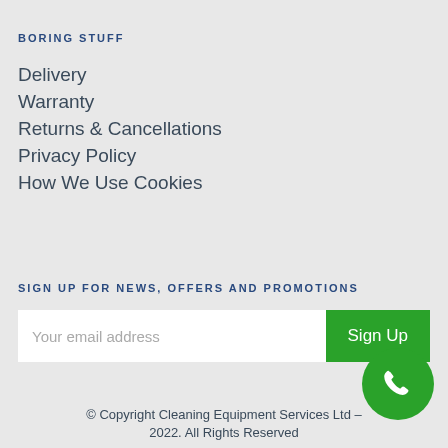BORING STUFF
Delivery
Warranty
Returns & Cancellations
Privacy Policy
How We Use Cookies
SIGN UP FOR NEWS, OFFERS AND PROMOTIONS
Your email address
Sign Up
© Copyright Cleaning Equipment Services Ltd – 2022. All Rights Reserved